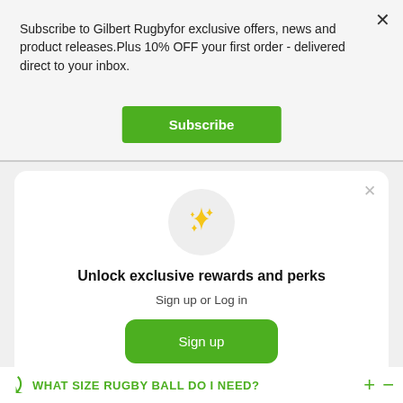Subscribe to Gilbert Rugbyfor exclusive offers, news and product releases.Plus 10% OFF your first order - delivered direct to your inbox.
Subscribe
[Figure (illustration): Gold sparkle/stars icon inside a light gray circle]
Unlock exclusive rewards and perks
Sign up or Log in
Sign up
Already have an account? Sign in
WHAT SIZE RUGBY BALL DO I NEED?